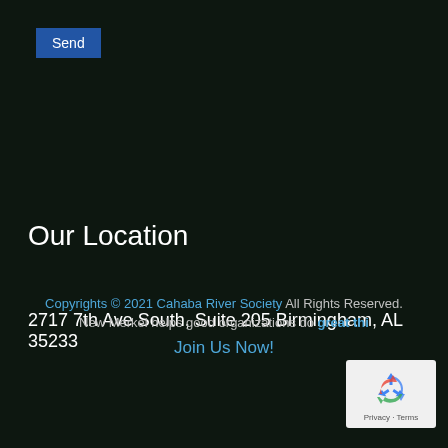[Figure (screenshot): Blue 'Send' button in the top-left corner]
Our Location
2717 7th Ave South, Suite 205 Birmingham, AL 35233
Copyrights © 2021 Cahaba River Society All Rights Reserved. New Merkel helps good organizations do great thi... Join Us Now!
[Figure (logo): Google reCAPTCHA badge with recycling arrow logo and Privacy - Terms text]